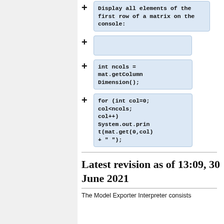Display all elements of the first row of a matrix on the console:
int ncols = mat.getColumnDimension();
for (int col=0; col<ncols; col++) System.out.print(mat.get(0,col) + " ");
Latest revision as of 13:09, 30 June 2021
The Model Exporter Interpreter consists